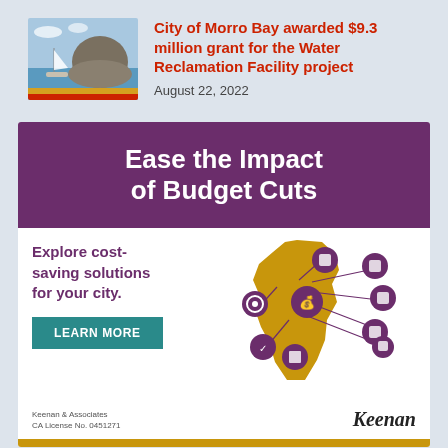[Figure (photo): Thumbnail photo of Morro Rock and bay with sailboat, blue sky, yellow/red stripe at bottom]
City of Morro Bay awarded $9.3 million grant for the Water Reclamation Facility project
August 22, 2022
[Figure (infographic): Advertisement for Keenan & Associates. Purple header reads 'Ease the Impact of Budget Cuts'. White section below says 'Explore cost-saving solutions for your city.' with a teal 'LEARN MORE' button and a graphic of California state map with purple connected icons. Footer shows 'Keenan & Associates CA License No. 0451271' and 'Keenan' logo. Gold bar at bottom.]